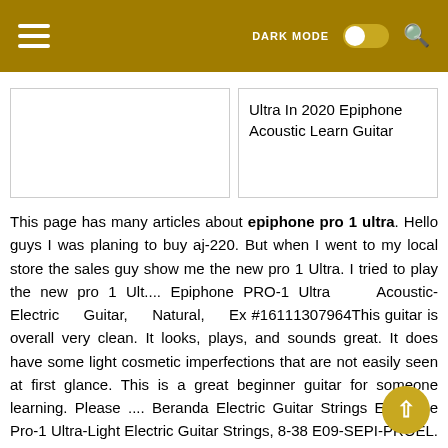[Figure (screenshot): Mobile app header bar with hamburger menu, DARK MODE toggle switch, and search icon on a dark gold/olive background]
[Figure (screenshot): Two card panels: left card is blank image placeholder, right card shows text 'Ultra In 2020 Epiphone Acoustic Learn Guitar']
This page has many articles about epiphone pro 1 ultra. Hello guys I was planing to buy aj-220. But when I went to my local store the sales guy show me the new pro 1 Ultra. I tried to play the new pro 1 Ult.... Epiphone PRO-1 Ultra Acoustic-Electric Guitar, Natural, Ex #16111307964This guitar is overall very clean. It looks, plays, and sounds great. It does have some light cosmetic imperfections that are not easily seen at first glance. This is a great beginner guitar for someone learning. Please .... Beranda Electric Guitar Strings Epiphone Pro-1 Ultra-Light Electric Guitar Strings, 8-38 E09-SEPI-PROEL. Epiphone Pro-1 Ultra-Light Electric Guitar Strings, 8-38: Lihat produk serupa: Epiphone Pro-1